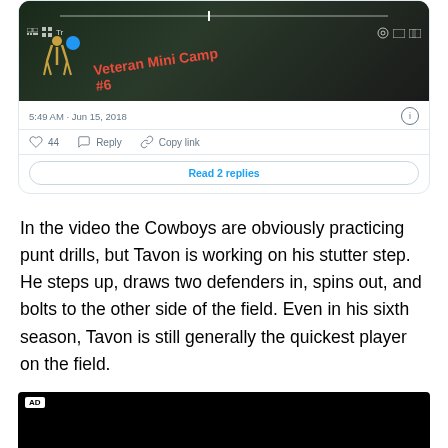[Figure (screenshot): Screenshot of a tweet showing a video thumbnail of 'Veteran Mini Camp #6' with timestamp 5:49 AM Jun 15, 2018, 44 likes, Reply, Copy link actions, and a Read 2 replies button]
In the video the Cowboys are obviously practicing punt drills, but Tavon is working on his stutter step. He steps up, draws two defenders in, spins out, and bolts to the other side of the field. Even in his sixth season, Tavon is still generally the quickest player on the field.
[Figure (screenshot): Bottom of page showing an AD video banner (black background with AD label)]